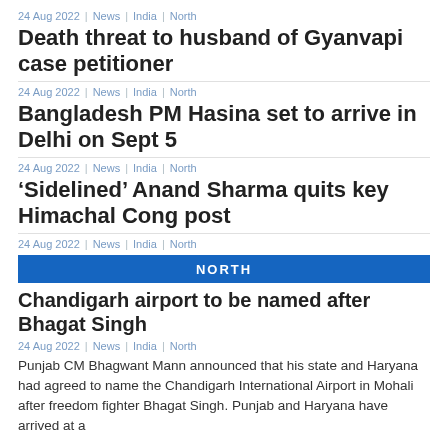24 Aug 2022 | News | India | North
Death threat to husband of Gyanvapi case petitioner
24 Aug 2022 | News | India | North
Bangladesh PM Hasina set to arrive in Delhi on Sept 5
24 Aug 2022 | News | India | North
‘Sidelined’ Anand Sharma quits key Himachal Cong post
24 Aug 2022 | News | India | North
NORTH
Chandigarh airport to be named after Bhagat Singh
24 Aug 2022 | News | India | North
Punjab CM Bhagwant Mann announced that his state and Haryana had agreed to name the Chandigarh International Airport in Mohali after freedom fighter Bhagat Singh. Punjab and Haryana have arrived at a